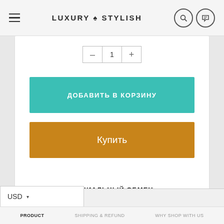LUXURY ♠ STYLISH
[Figure (screenshot): Quantity selector with minus, 1, plus buttons]
ДОБАВИТЬ В КОРЗИНУ
Купить
СОЦИАЛЬНЫЙ ОБМЕН
[Figure (infographic): Social sharing icons: Facebook, Twitter, Pinterest in circles]
USD
PRODUCT   SHIPPING & REFUND   WHY SHOP WITH US